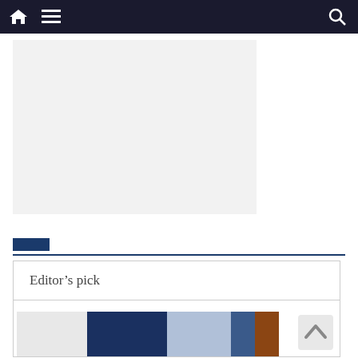Navigation bar with home, menu, and search icons
[Figure (other): Advertisement placeholder area, light grey rectangle]
[Figure (other): Blue accent bar above a navy horizontal divider line]
Editor’s pick
[Figure (photo): Strip of images showing people in suits and professional attire, partially visible at bottom of page]